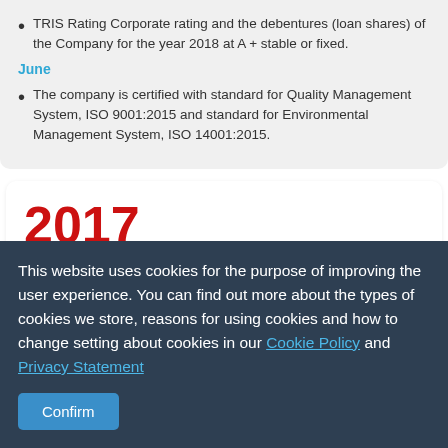TRIS Rating Corporate rating and the debentures (loan shares) of the Company for the year 2018 at A + stable or fixed.
June
The company is certified with standard for Quality Management System, ISO 9001:2015 and standard for Environmental Management System, ISO 14001:2015.
2017
December
This website uses cookies for the purpose of improving the user experience. You can find out more about the types of cookies we store, reasons for using cookies and how to change setting about cookies in our Cookie Policy and Privacy Statement
Confirm